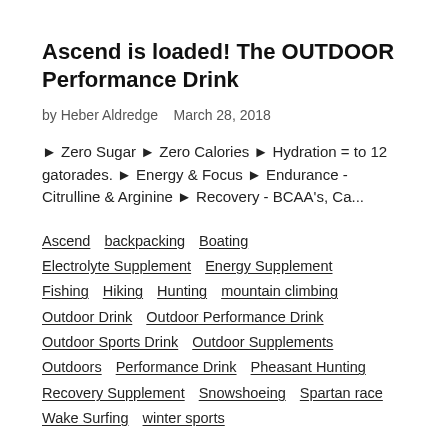Ascend is loaded! The OUTDOOR Performance Drink
by Heber Aldredge   March 28, 2018
► Zero Sugar ► Zero Calories ► Hydration = to 12 gatorades. ► Energy & Focus ► Endurance - Citrulline & Arginine ► Recovery - BCAA's, Ca...
Ascend
backpacking
Boating
Electrolyte Supplement
Energy Supplement
Fishing
Hiking
Hunting
mountain climbing
Outdoor Drink
Outdoor Performance Drink
Outdoor Sports Drink
Outdoor Supplements
Outdoors
Performance Drink
Pheasant Hunting
Recovery Supplement
Snowshoeing
Spartan race
Wake Surfing
winter sports